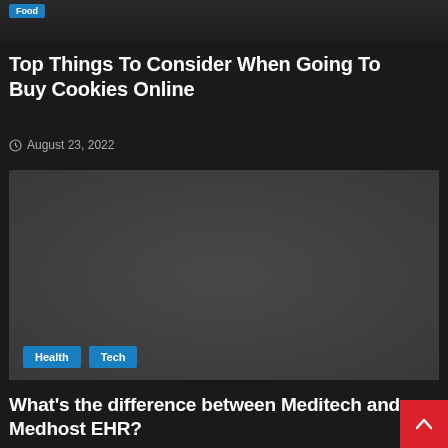[Figure (photo): Dark image of cookies or food item with a Food category tag overlay at top left]
Top Things To Consider When Going To Buy Cookies Online
August 23, 2022
[Figure (photo): Dark image with Health and Tech category tags overlay at bottom left]
What's the difference between Meditech and Medhost EHR?